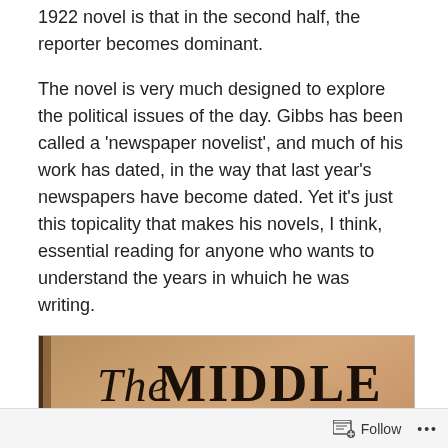1922 novel is that in the second half, the reporter becomes dominant.
The novel is very much designed to explore the political issues of the day. Gibbs has been called a ‘newspaper novelist’, and much of his work has dated, in the way that last year’s newspapers have become dated. Yet it's just this topicality that makes his novels, I think, essential reading for anyone who wants to understand the years in whuich he was writing.
[Figure (photo): Book cover of 'The Middle of the Road' by Philip Gibbs, showing ornate text on a warm-toned background.]
Follow ...